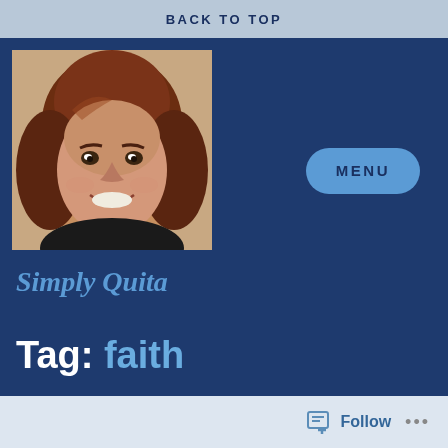BACK TO TOP
[Figure (photo): Portrait photo of a smiling woman with reddish-brown hair, wearing a dark top, warm skin tone, photographed against a light background.]
MENU
Simply Quita
Tag: faith
Follow ...